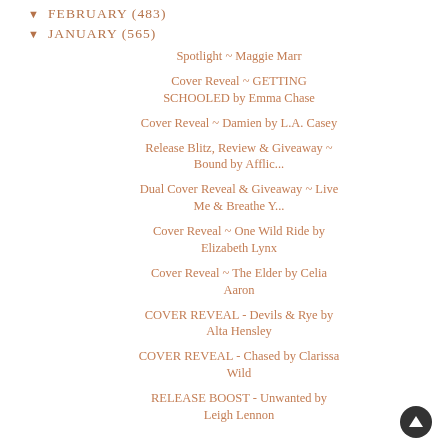FEBRUARY (483)
JANUARY (565)
Spotlight ~ Maggie Marr
Cover Reveal ~ GETTING SCHOOLED by Emma Chase
Cover Reveal ~ Damien by L.A. Casey
Release Blitz, Review & Giveaway ~ Bound by Afflic...
Dual Cover Reveal & Giveaway ~ Live Me & Breathe Y...
Cover Reveal ~ One Wild Ride by Elizabeth Lynx
Cover Reveal ~ The Elder by Celia Aaron
COVER REVEAL - Devils & Rye by Alta Hensley
COVER REVEAL - Chased by Clarissa Wild
RELEASE BOOST - Unwanted by Leigh Lennon